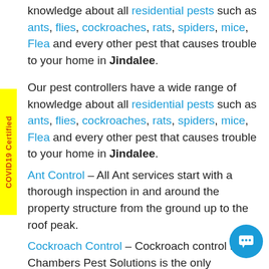knowledge about all residential pests such as ants, flies, cockroaches, rats, spiders, mice, Flea and every other pest that causes trouble to your home in Jindalee.
Our pest controllers have a wide range of knowledge about all residential pests such as ants, flies, cockroaches, rats, spiders, mice, Flea and every other pest that causes trouble to your home in Jindalee.
Ant Control – All Ant services start with a thorough inspection in and around the property structure from the ground up to the roof peak.
Cockroach Control – Cockroach control from Chambers Pest Solutions is the only cockroach extermination program you will ever need.